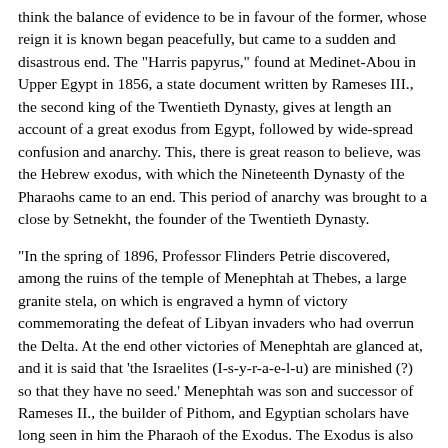think the balance of evidence to be in favour of the former, whose reign it is known began peacefully, but came to a sudden and disastrous end. The "Harris papyrus," found at Medinet-Abou in Upper Egypt in 1856, a state document written by Rameses III., the second king of the Twentieth Dynasty, gives at length an account of a great exodus from Egypt, followed by wide-spread confusion and anarchy. This, there is great reason to believe, was the Hebrew exodus, with which the Nineteenth Dynasty of the Pharaohs came to an end. This period of anarchy was brought to a close by Setnekht, the founder of the Twentieth Dynasty.
"In the spring of 1896, Professor Flinders Petrie discovered, among the ruins of the temple of Menephtah at Thebes, a large granite stela, on which is engraved a hymn of victory commemorating the defeat of Libyan invaders who had overrun the Delta. At the end other victories of Menephtah are glanced at, and it is said that 'the Israelites (I-s-y-r-a-e-l-u) are minished (?) so that they have no seed.' Menephtah was son and successor of Rameses II., the builder of Pithom, and Egyptian scholars have long seen in him the Pharaoh of the Exodus. The Exodus is also placed in his reign by the Egyptian legend of the event preserved by the historian Manetho. In the inscription the name of the Israelites has no determinative of 'country' or 'district' attached to it, as is the case with all the other names (Canaan, Ashkelon, Gezer, Khar or Southern Palestine, etc.) mentioned along with it, and it would therefore appear that at the time the hymn was composed, the